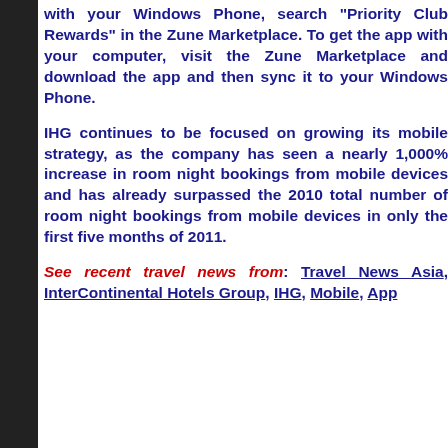with your Windows Phone, search "Priority Club Rewards" in the Zune Marketplace. To get the app with your computer, visit the Zune Marketplace and download the app and then sync it to your Windows Phone.
IHG continues to be focused on growing its mobile strategy, as the company has seen a nearly 1,000% increase in room night bookings from mobile devices and has already surpassed the 2010 total number of room night bookings from mobile devices in only the first five months of 2011.
See recent travel news from: Travel News Asia, InterContinental Hotels Group, IHG, Mobile, App